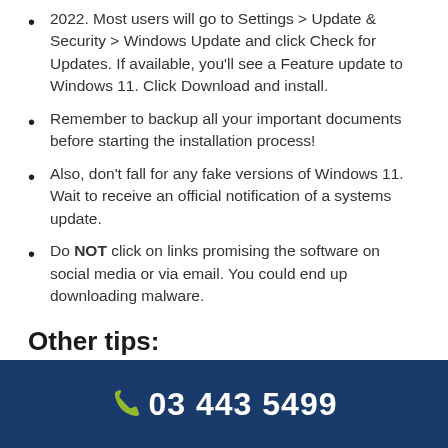2022. Most users will go to Settings > Update & Security > Windows Update and click Check for Updates. If available, you'll see a Feature update to Windows 11. Click Download and install.
Remember to backup all your important documents before starting the installation process!
Also, don't fall for any fake versions of Windows 11. Wait to receive an official notification of a systems update.
Do NOT click on links promising the software on social media or via email. You could end up downloading malware.
Other tips:
If you are in the market for a new laptop, make sure you're getting one with Windows 11 pre-installed. That way, you'll be sure to get one that will be able to run the new operating system without hassle.
03 443 5499